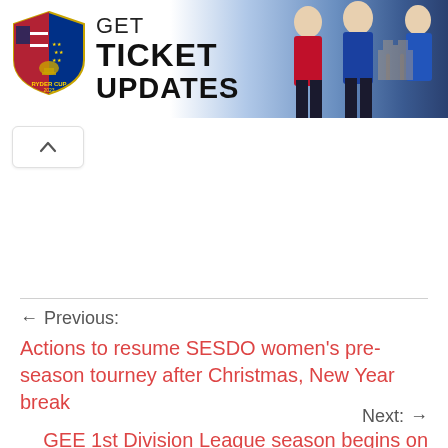[Figure (screenshot): Ryder Cup 2023 banner advertisement with logo and text 'GET TICKET UPDATES' alongside photos of golfers in team uniforms]
[Figure (other): Collapse/chevron up button]
← Previous:
Actions to resume SESDO women's pre-season tourney after Christmas, New Year break
Next: →
GEE 1st Division League season begins on